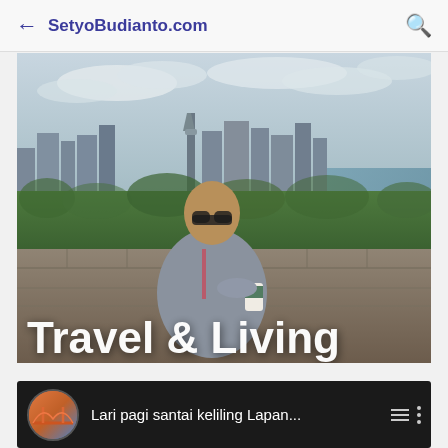← SetyoBudianto.com 🔍
[Figure (photo): A man wearing sunglasses and a gray jacket, sitting on a stone wall holding a coffee cup, with the Seattle skyline including the Space Needle in the background, with trees and cloudy sky. Text overlay reads 'Travel & Living'.]
[Figure (screenshot): A dark-background strip showing a circular thumbnail of the Golden Gate Bridge and the text 'Lari pagi santai keliling Lapan...' with menu icons on the right.]